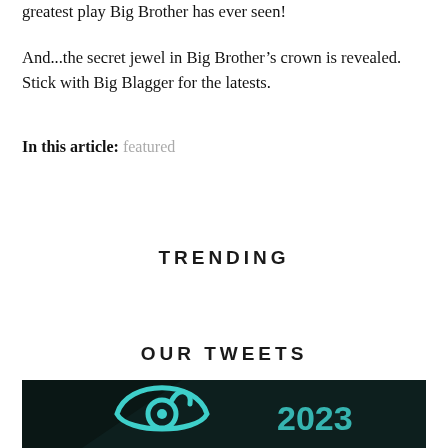greatest play Big Brother has ever seen!
And...the secret jewel in Big Brother’s crown is revealed. Stick with Big Blagger for the latests.
In this article: featured
TRENDING
OUR TWEETS
[Figure (illustration): Dark teal background with a stylized eye/bird logo in teal and the year 2023 in large teal numerals]